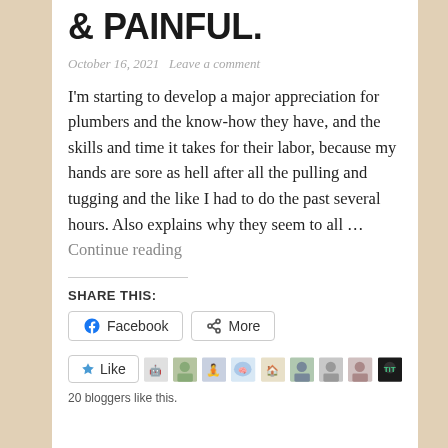& PAINFUL.
October 16, 2021   Leave a comment
I'm starting to develop a major appreciation for plumbers and the know-how they have, and the skills and time it takes for their labor, because my hands are sore as hell after all the pulling and tugging and the like I had to do the past several hours. Also explains why they seem to all … Continue reading
SHARE THIS:
Facebook   More
Like
20 bloggers like this.